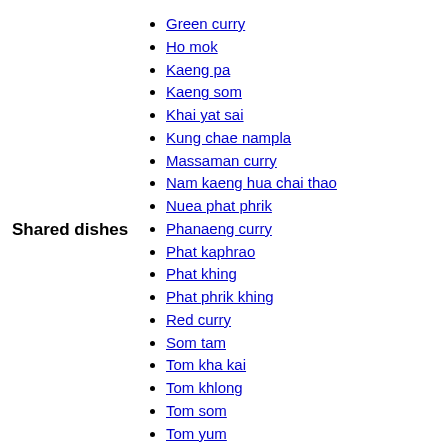Shared dishes
Green curry
Ho mok
Kaeng pa
Kaeng som
Khai yat sai
Kung chae nampla
Massaman curry
Nam kaeng hua chai thao
Nuea phat phrik
Phanaeng curry
Phat kaphrao
Phat khing
Phat phrik khing
Red curry
Som tam
Tom kha kai
Tom khlong
Tom som
Tom yum
Yam khai dao
Yellow curry
Bamboo shoot salad
Chim chum
Kai yang